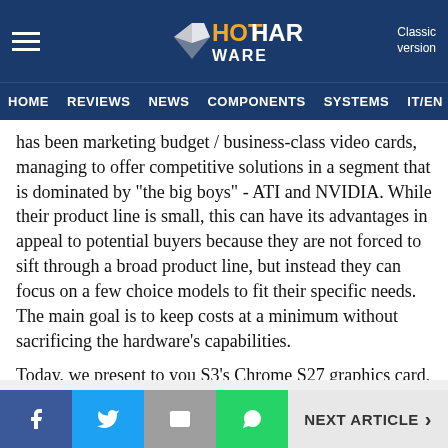HotHardware — Classic version | HOME REVIEWS NEWS COMPONENTS SYSTEMS IT/EN
has been marketing budget / business-class video cards, managing to offer competitive solutions in a segment that is dominated by "the big boys" - ATI and NVIDIA. While their product line is small, this can have its advantages in appeal to potential buyers because they are not forced to sift through a broad product line, but instead they can focus on a few choice models to fit their specific needs.  The main goal is to keep costs at a minimum without sacrificing the hardware's capabilities.
Today, we present to you S3's Chrome S27 graphics card, which is one of three new Chrome S20 series models that
f  [twitter]  [email]  [whatsapp]   NEXT ARTICLE >